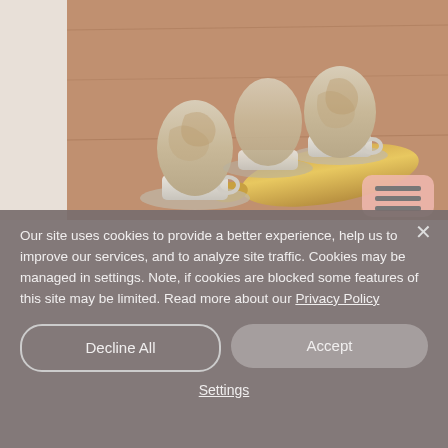[Figure (photo): Photo of decorated egg cups with textured eggs on a wooden surface, with a golden spoon in the foreground. A pink/salmon colored menu button is visible in the lower right corner of the photo.]
Our site uses cookies to provide a better experience, help us to improve our services, and to analyze site traffic. Cookies may be managed in settings. Note, if cookies are blocked some features of this site may be limited. Read more about our Privacy Policy
Decline All
Accept
Settings